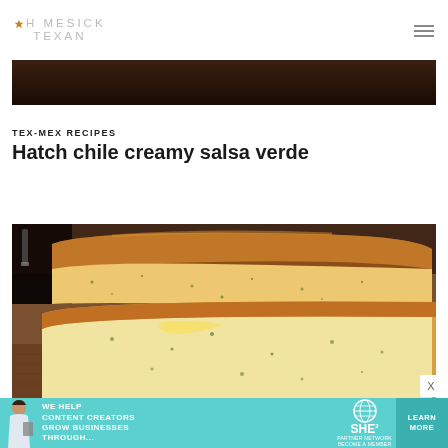HOMESICK TEXAN
[Figure (photo): Dark background image strip, partially visible at top of page content area]
TEX-MEX RECIPES
Hatch chile creamy salsa verde
[Figure (photo): Sliced loaf of Hatch chile creamy salsa verde bread on a wooden cutting board, golden-brown crust with herb flecks inside]
[Figure (infographic): Advertisement banner: WE HELP CONTENT CREATORS GROW BUSINESSES THROUGH... SHE PARTNER NETWORK BECOME A MEMBER, with LEARN MORE button]